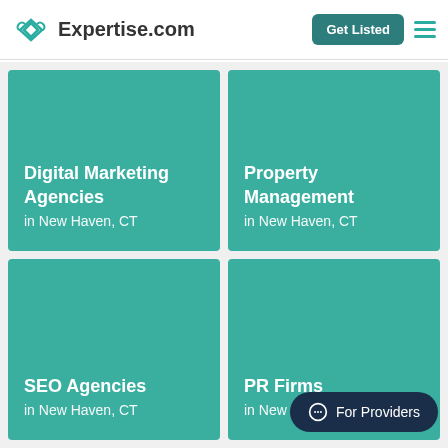Expertise.com — Get Listed
Digital Marketing Agencies in New Haven, CT
Property Management in New Haven, CT
SEO Agencies in New Haven, CT
PR Firms in New Haven, CT
For Providers